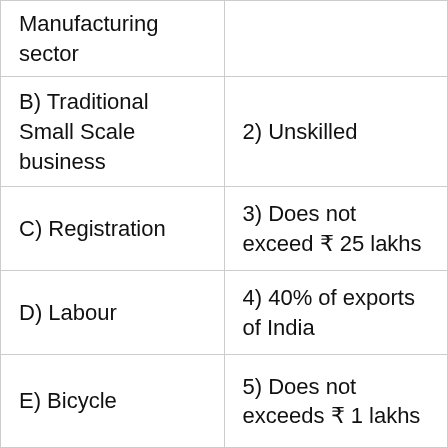| Manufacturing sector |  |
| B) Traditional Small Scale business | 2) Unskilled |
| C) Registration | 3) Does not exceed ₹ 25 lakhs |
| D) Labour | 4) 40% of exports of India |
| E) Bicycle | 5) Does not exceeds ₹ 1 lakhs |